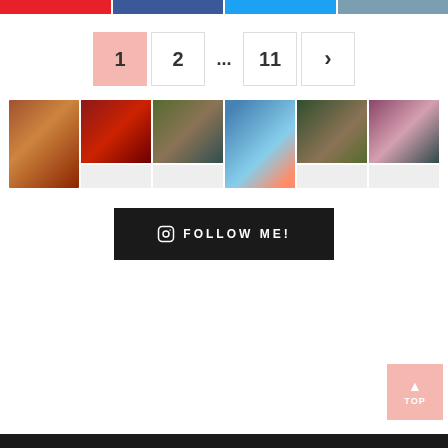[Figure (screenshot): Social share buttons bar: red Pinterest, blue Facebook, light blue Twitter, dark blue share button]
[Figure (screenshot): Pagination bar showing page 1 (active/highlighted in pink), 2, ..., 11, and next arrow]
[Figure (photo): Grid of 6 Instagram-style photo thumbnails: food/pancakes, red holiday bottle, cosmetics/gifts, ice cream with city skyline, skincare products, makeup palette]
[Figure (screenshot): Black Instagram Follow Me button with Instagram icon]
[Figure (screenshot): Pink TOP back-to-top button with upward arrow in bottom right]